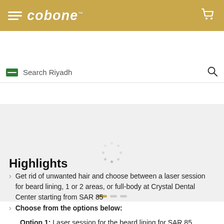cobone™
Search Riyadh
[Figure (screenshot): Loading image placeholder with spinner dots and carousel pagination dots at bottom]
Highlights
Get rid of unwanted hair and choose between a laser session for beard lining, 1 or 2 areas, or full-body at Crystal Dental Center starting from SAR 85
Choose from the options below:
Option 1: Laser session for the beard lining for SAR 85